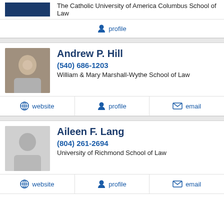The Catholic University of America Columbus School of Law
profile
Andrew P. Hill
(540) 686-1203
William & Mary Marshall-Wythe School of Law
website | profile | email
Aileen F. Lang
(804) 261-2694
University of Richmond School of Law
website | profile | email